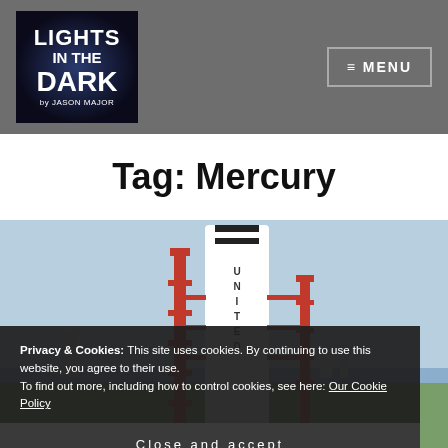Lights in the Dark by Jason Major — MENU
Tag: Mercury
[Figure (photo): A white rocket with UNITED lettering on its body, mounted on a red launch structure at a launch pad, with flat landscape and sky in the background.]
Privacy & Cookies: This site uses cookies. By continuing to use this website, you agree to their use.
To find out more, including how to control cookies, see here: Our Cookie Policy
Close and accept